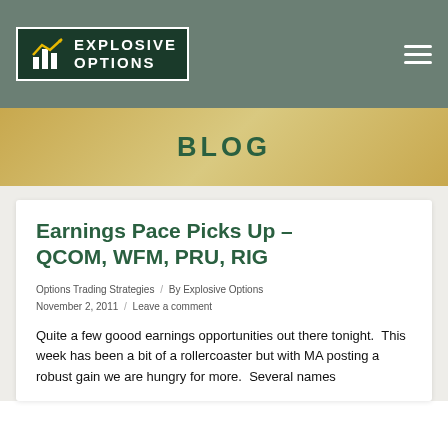Explosive Options
BLOG
Earnings Pace Picks Up – QCOM, WFM, PRU, RIG
Options Trading Strategies / By Explosive Options November 2, 2011 / Leave a comment
Quite a few goood earnings opportunities out there tonight.  This week has been a bit of a rollercoaster but with MA posting a robust gain we are hungry for more.  Several names